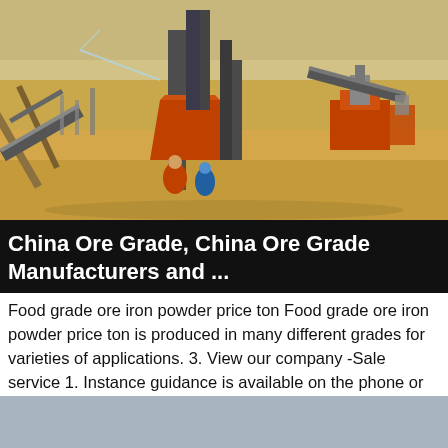[Figure (photo): Mining equipment and conveyor belts operating in a desert landscape with sandy terrain. Workers in orange/blue clothing visible near machinery.]
China Ore Grade, China Ore Grade Manufacturers and ...
Food grade ore iron powder price ton Food grade ore iron powder price ton is produced in many different grades for varieties of applications. 3. View our company -Sale service 1. Instance guidance is available on the phone or email any time. And our engineers will
More Details